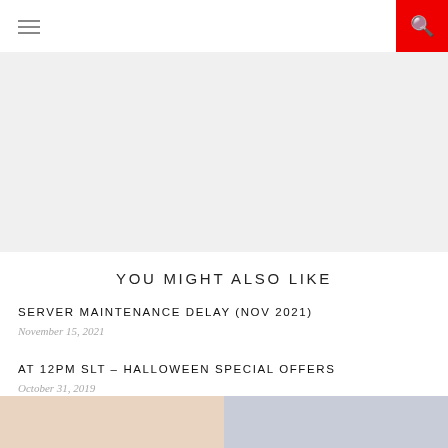[Figure (other): Gray banner/advertisement placeholder area]
YOU MIGHT ALSO LIKE
SERVER MAINTENANCE DELAY (NOV 2021)
November 15, 2021
AT 12PM SLT – HALLOWEEN SPECIAL OFFERS
October 31, 2019
[Figure (photo): Two thumbnail images at bottom of page, partially visible]